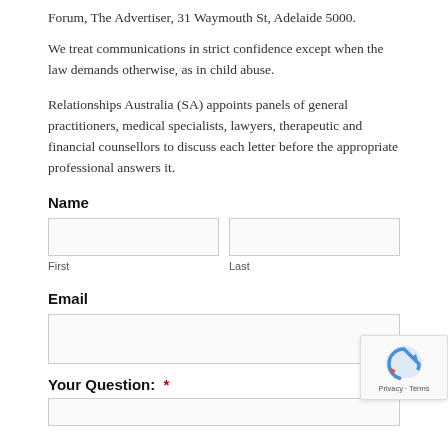Forum, The Advertiser, 31 Waymouth St, Adelaide 5000.
We treat communications in strict confidence except when the law demands otherwise, as in child abuse.
Relationships Australia (SA) appoints panels of general practitioners, medical specialists, lawyers, therapeutic and financial counsellors to discuss each letter before the appropriate professional answers it.
Name
First
Last
Email
Your Question:  *